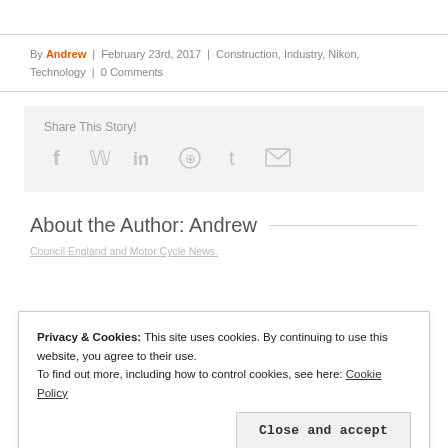By Andrew | February 23rd, 2017 | Construction, Industry, Nikon, Technology | 0 Comments
[Figure (infographic): Share This Story box with social media icons: Facebook, Twitter, LinkedIn, WhatsApp, Tumblr, Email]
About the Author: Andrew
Privacy & Cookies: This site uses cookies. By continuing to use this website, you agree to their use. To find out more, including how to control cookies, see here: Cookie Policy
Close and accept
Council England and Motor Cycle News.